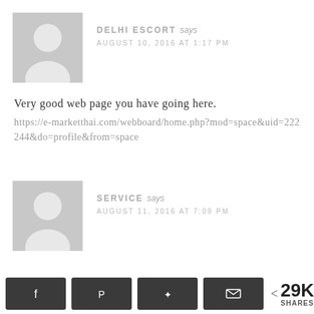[Figure (illustration): Grey default avatar placeholder image for user Delhi Escort]
DELHI ESCORT says
AUGUST 10, 2016 AT 1:17 PM
Very good web page you have going here.
https://e-marketthai.com/webboard/home.php?mod=space&uid=222244&do=profile&from=space
[Figure (illustration): Grey default avatar placeholder image for user Service]
SERVICE says
AUGUST 11, 2016 AT 7:09 PM
29K SHARES